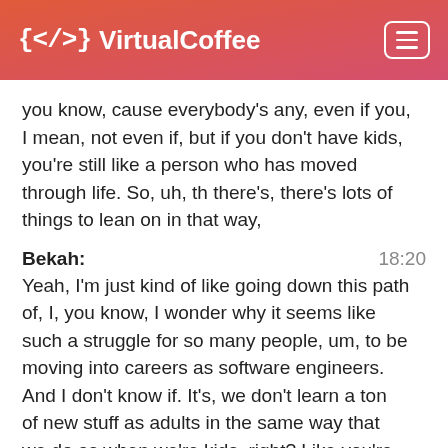{</> VirtualCoffee
you know, cause everybody's any, even if you, I mean, not even if, but if you don't have kids, you're still like a person who has moved through life. So, uh, th there's, there's lots of things to lean on in that way,
Bekah:  18:20
Yeah, I'm just kind of like going down this path of, I, you know, I wonder why it seems like such a struggle for so many people, um, to be moving into careers as software engineers. And I don't know if. It's, we don't learn a ton of new stuff as adults in the same way that we do as when we're kids, right? Like you're